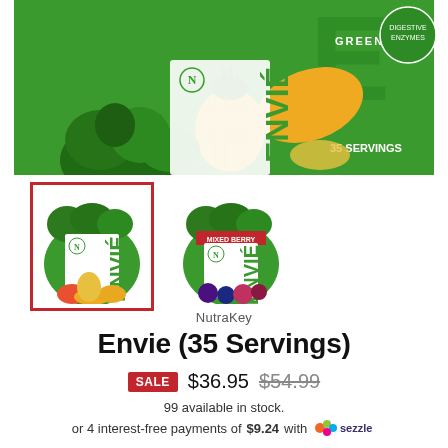[Figure (photo): Close-up top view of a green NutraKey Envie greens supplement container with fruits and vegetables on the label, 35 servings]
[Figure (photo): Thumbnail of NutraKey Envie greens container (tropical/mango flavor) with red border indicating selected state]
[Figure (photo): Thumbnail of NutraKey Envie greens container (mixed berry flavor) unselected]
NutraKey
Envie (35 Servings)
SALE $36.95 $54.99
99 available in stock.
or 4 interest-free payments of $9.24 with sezzle